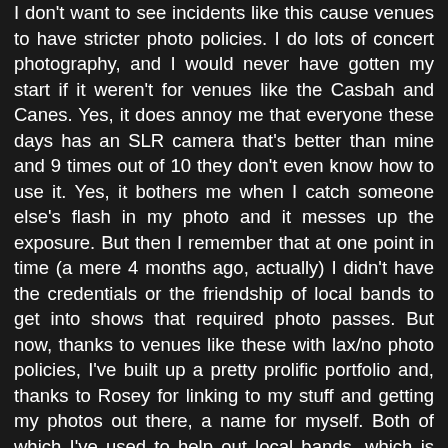I don't want to see incidents like this cause venues to have stricter photo policies. I do lots of concert photography, and I would never have gotten my start if it weren't for venues like the Casbah and Canes. Yes, it does annoy me that everyone these days has an SLR camera that's better than mine and 9 times out of 10 they don't even know how to use it. Yes, it bothers me when I catch someone else's flash in my photo and it messes up the exposure. But then I remember that at one point in time (a mere 4 months ago, actually) I didn't have the credentials or the friendship of local bands to get into shows that required photo passes. But now, thanks to venues like these with lax/no photo policies, I've built up a pretty prolific portfolio and, thanks to Rosey for linking to my stuff and getting my photos out there, a name for myself. Both of which I've used to help out local bands, which is really what Rosey and I are both about.
Rosey's done a lot for the local scene here - she goes out probably 6 out of 7 nights a week, sometimes to multiple shows, all to support the artists she loves and give them the appreciation they deserve. All you people leaving negative comments, I ask you one question - when was the